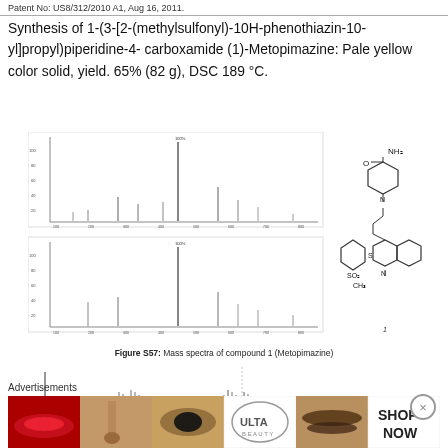Patent No: US8/312/2010 A1, Aug 16, 2011.
Synthesis of 1-(3-[2-(methylsulfonyl)-10H-phenothiazin-10-yl]propyl)piperidine-4- carboxamide (1)-Metopimazine: Pale yellow color solid, yield. 65% (82 g), DSC 189 °C.
[Figure (other): Mass spectra of compound 1 (Metopimazine) showing two mass spectrum panels with peaks, and a chemical structure diagram of Metopimazine on the right side.]
Figure S57: Mass spectra of compound 1 (Metopimazine)
[Figure (other): Partial NMR spectrum view showing peaks and partial chemical structure fragments.]
Advertisements